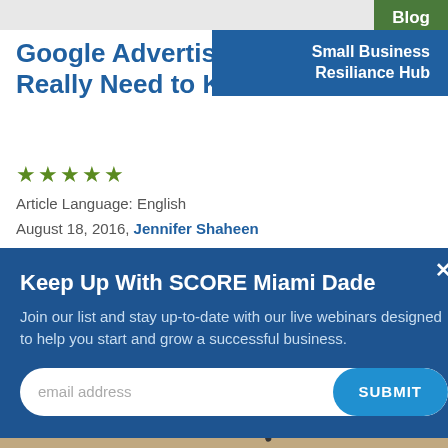Blog
Small Business Resiliance Hub
Google Advertising: What You Really Need to Know
★★★★★
Article Language: English
August 18, 2016, Jennifer Shaheen
Keep Up With SCORE Miami Dade
Join our list and stay up-to-date with our live webinars designed to help you start and grow a successful business.
email address
SUBMIT
[Figure (photo): Bottom portion showing glasses, a pen, partial document text reading MENT, and a white coffee cup on a wooden desk surface]